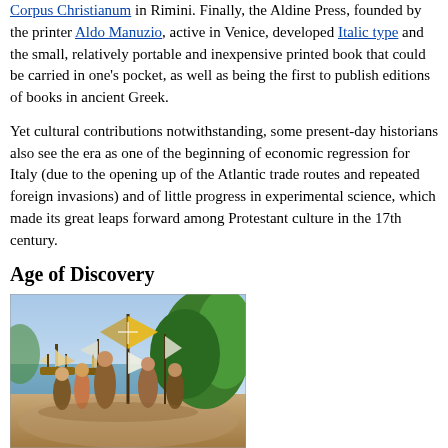Corpus Christianum in Rimini. Finally, the Aldine Press, founded by the printer Aldo Manuzio, active in Venice, developed Italic type and the small, relatively portable and inexpensive printed book that could be carried in one's pocket, as well as being the first to publish editions of books in ancient Greek.
Yet cultural contributions notwithstanding, some present-day historians also see the era as one of the beginning of economic regression for Italy (due to the opening up of the Atlantic trade routes and repeated foreign invasions) and of little progress in experimental science, which made its great leaps forward among Protestant culture in the 17th century.
Age of Discovery
[Figure (illustration): Painting depicting Christopher Columbus and explorers landing in the New World, with ships visible in the background harbor and lush tropical vegetation.]
Christopher Columbus leads an expedition to the New World,